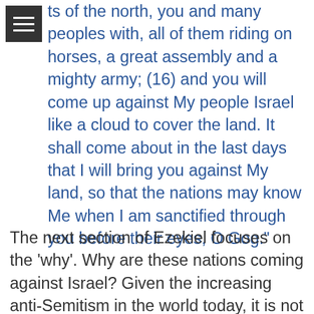ts of the north, you and many peoples with, all of them riding on horses, a great assembly and a mighty army; (16) and you will come up against My people Israel like a cloud to cover the land. It shall come about in the last days that I will bring you against My land, so that the nations may know Me when I am sanctified through you before their eyes, O Gog."
The next section of Ezekiel focuses on the 'why'. Why are these nations coming against Israel? Given the increasing anti-Semitism in the world today, it is not hard to see these nations wanting to destroy Israel. Iran especially is famous for its constant decrees and threats of destroying the Jewish nation and driving them into the sea. We have seen this 'everlasting hatred' mentioned in previous chapters of Ezekiel. But hatred ISN'T the primary reason given for this invasion in Ezekiel 38.